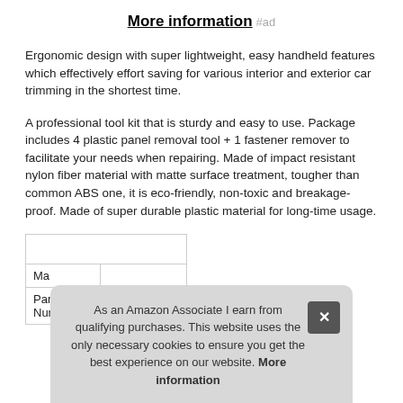More information #ad
Ergonomic design with super lightweight, easy handheld features which effectively effort saving for various interior and exterior car trimming in the shortest time.
A professional tool kit that is sturdy and easy to use. Package includes 4 plastic panel removal tool + 1 fastener remover to facilitate your needs when repairing. Made of impact resistant nylon fiber material with matte surface treatment, tougher than common ABS one, it is eco-friendly, non-toxic and breakage-proof. Made of super durable plastic material for long-time usage.
| Ma |  |
| Part Number | LivTee-PLP-5050-1W |
As an Amazon Associate I earn from qualifying purchases. This website uses the only necessary cookies to ensure you get the best experience on our website. More information